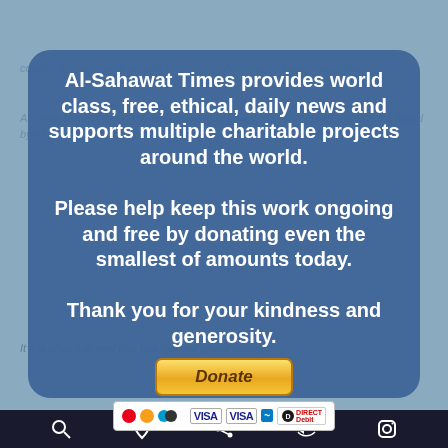[Figure (screenshot): Screenshot of Al-Sahawat Times donation overlay modal on a webpage. The modal has a dark blue rounded rectangle overlay with white bold text asking for donations, and a PayPal-style Donate button with payment card logos below it. Background shows faded article text.]
Al-Sahawat Times provides world class, free, ethical, daily news and supports multiple charitable projects around the world. Please help keep this work ongoing and free by donating even the smallest of amounts today. Thank you for your kindness and generosity.